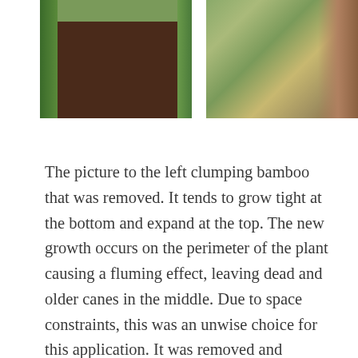[Figure (photo): Two side-by-side outdoor photos: left shows a narrow garden bed with dark mulch and green plants along a wall with a hose visible; right shows a person standing next to tall bamboo plants near a brick building.]
The picture to the left clumping bamboo that was removed. It tends to grow tight at the bottom and expand at the top. The new growth occurs on the perimeter of the plant causing a fluming effect, leaving dead and older canes in the middle. Due to space constraints, this was an unwise choice for this application. It was removed and replaced with Phyllostachys Nigra Henon. A beautiful running bamboo that can be easily controlled